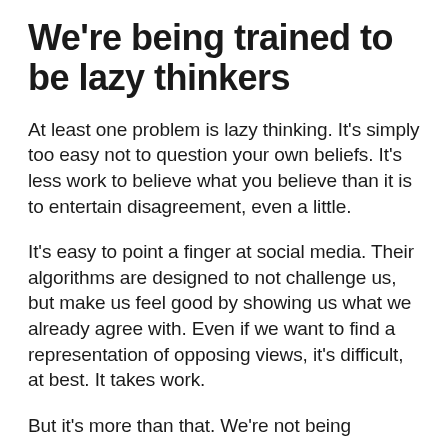We're being trained to be lazy thinkers
At least one problem is lazy thinking. It's simply too easy not to question your own beliefs. It's less work to believe what you believe than it is to entertain disagreement, even a little.
It's easy to point a finger at social media. Their algorithms are designed to not challenge us, but make us feel good by showing us what we already agree with. Even if we want to find a representation of opposing views, it's difficult, at best. It takes work.
But it's more than that. We're not being